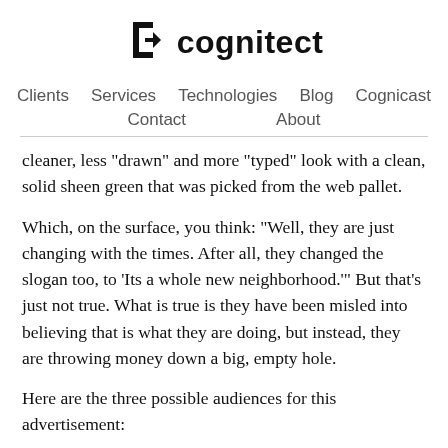[Figure (logo): Cognitect logo with angular bracket-like icon and 'cognitect' text in bold sans-serif]
Clients   Services   Technologies   Blog   Cognicast   Contact   About
cleaner, less "drawn" and more "typed" look with a clean, solid sheen green that was picked from the web pallet.
Which, on the surface, you think: "Well, they are just changing with the times. After all, they changed the slogan too, to 'Its a whole new neighborhood.'" But that's just not true. What is true is they have been misled into believing that is what they are doing, but instead, they are throwing money down a big, empty hole.
Here are the three possible audiences for this advertisement: